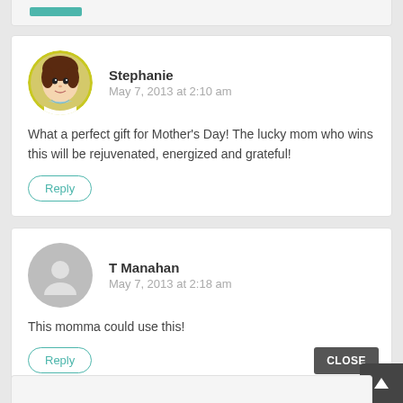Stephanie
May 7, 2013 at 2:10 am
What a perfect gift for Mother's Day! The lucky mom who wins this will be rejuvenated, energized and grateful!
Reply
T Manahan
May 7, 2013 at 2:18 am
This momma could use this!
Reply
CLOSE